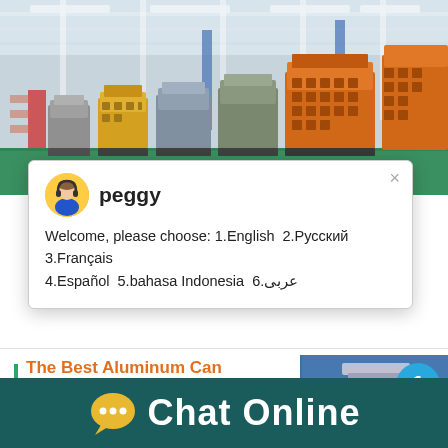[Figure (photo): Factory interior with a row of industrial impact crushers (yellow and grey metal machinery) lined up on a green floor inside a large steel-framed manufacturing facility.]
[Figure (screenshot): Live chat popup window showing agent 'peggy' with avatar, close button (×), and multilingual welcome message offering language choices: 1.English 2.Русский 3.Français 4.Español 5.bahasa Indonesia 6.عربی]
The Best Aluminum Can Crusher
10/10/2020  Being starting this area d...
[Figure (screenshot): Right-side widget showing a cone crusher machine image on blue background with notification badge showing '1' and a 'Click me to chat>>' button in blue.]
Chat Online